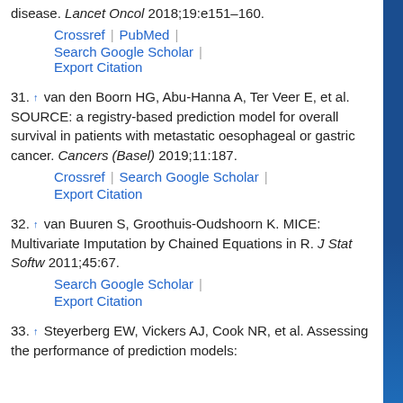disease. Lancet Oncol 2018;19:e151–160.
Crossref | PubMed | Search Google Scholar | Export Citation
31. ↑ van den Boorn HG, Abu-Hanna A, Ter Veer E, et al. SOURCE: a registry-based prediction model for overall survival in patients with metastatic oesophageal or gastric cancer. Cancers (Basel) 2019;11:187.
Crossref | Search Google Scholar | Export Citation
32. ↑ van Buuren S, Groothuis-Oudshoorn K. MICE: Multivariate Imputation by Chained Equations in R. J Stat Softw 2011;45:67.
Search Google Scholar | Export Citation
33. ↑ Steyerberg EW, Vickers AJ, Cook NR, et al. Assessing the performance of prediction models: